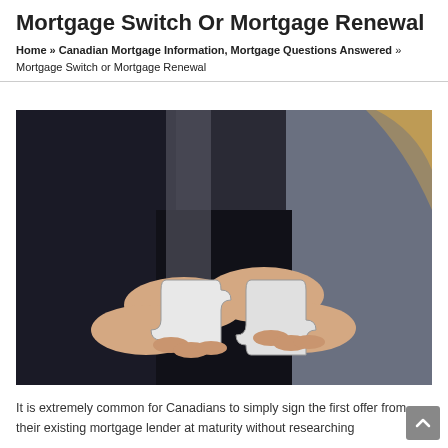Mortgage Switch Or Mortgage Renewal
Home » Canadian Mortgage Information, Mortgage Questions Answered » Mortgage Switch or Mortgage Renewal
[Figure (photo): Two people holding interlocking puzzle pieces together, symbolizing mortgage switching or renewal decision-making. Business attire visible in background.]
It is extremely common for Canadians to simply sign the first offer from their existing mortgage lender at maturity without researching